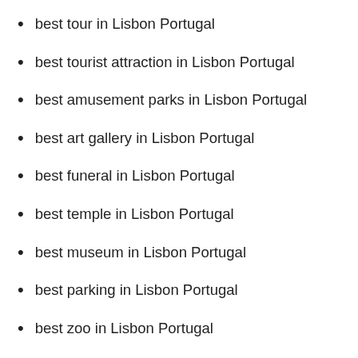best tour in Lisbon Portugal
best tourist attraction in Lisbon Portugal
best amusement parks in Lisbon Portugal
best art gallery in Lisbon Portugal
best funeral in Lisbon Portugal
best temple in Lisbon Portugal
best museum in Lisbon Portugal
best parking in Lisbon Portugal
best zoo in Lisbon Portugal
best tourist village in Lisbon Portugal